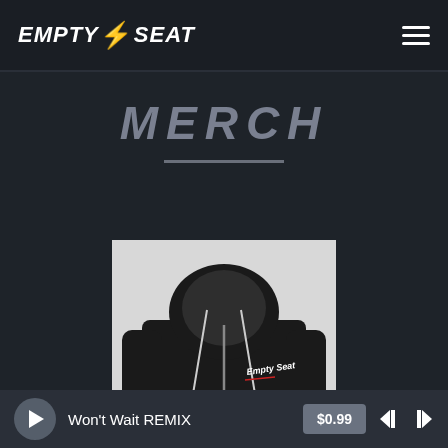EMPTY SEAT
MERCH
[Figure (photo): Black zip-up hoodie with Empty Seat logo script embroidered on the chest, displayed on a white background]
Won't Wait REMIX
$0.99